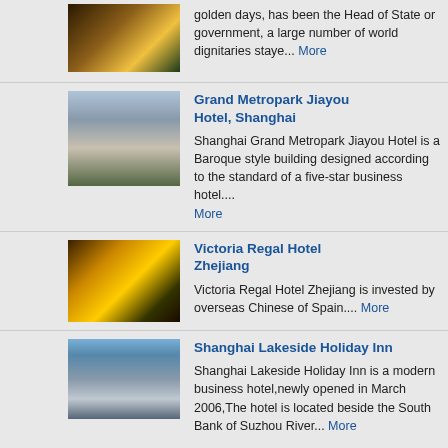golden days, has been the Head of State or government, a large number of world dignitaries staye... More
[Figure (photo): Hotel exterior photo at night with fountain and green/gold lighting]
Grand Metropark Jiayou Hotel, Shanghai
Shanghai Grand Metropark Jiayou Hotel is a Baroque style building designed according to the standard of a five-star business hotel.... More
[Figure (photo): Grand Metropark Jiayou Hotel exterior, multi-story white building]
Victoria Regal Hotel Zhejiang
Victoria Regal Hotel Zhejiang is invested by overseas Chinese of Spain.... More
[Figure (photo): Victoria Regal Hotel Zhejiang signage with Chinese characters, golden decorative wall]
Shanghai Lakeside Holiday Inn
Shanghai Lakeside Holiday Inn is a modern business hotel,newly opened in March 2006,The hotel is located beside the South Bank of Suzhou River... More
[Figure (photo): Shanghai Lakeside Holiday Inn exterior, modern building with glass facade]